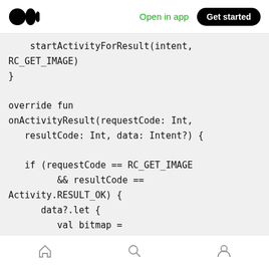Open in app  Get started
[Figure (screenshot): Medium app top navigation bar with logo, 'Open in app' link in green, and 'Get started' black pill button]
startActivityForResult(intent,
RC_GET_IMAGE)
}

override fun
onActivityResult(requestCode: Int,
   resultCode: Int, data: Intent?) {

   if (requestCode == RC_GET_IMAGE
         && resultCode ==
Activity.RESULT_OK) {
      data?.let {
         val bitmap =
MediaStore.Images.Media.getBitmap(
            this.getContentResolver(),
it.data);

      myImageView.setImageBitmap(bitmap)
Home  Search  Profile